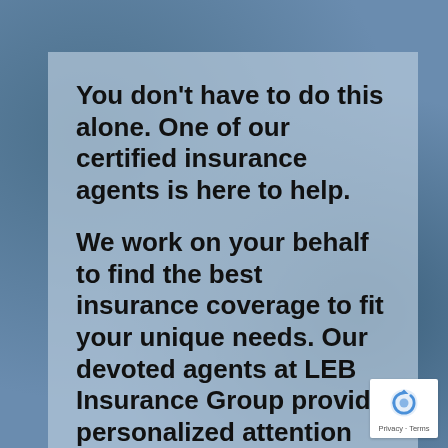You don't have to do this alone. One of our certified insurance agents is here to help.

We work on your behalf to find the best insurance coverage to fit your unique needs. Our devoted agents at LEB Insurance Group provide personalized attention and exceptional customer service to create an experience that's
[Figure (logo): reCAPTCHA badge with Privacy and Terms links]